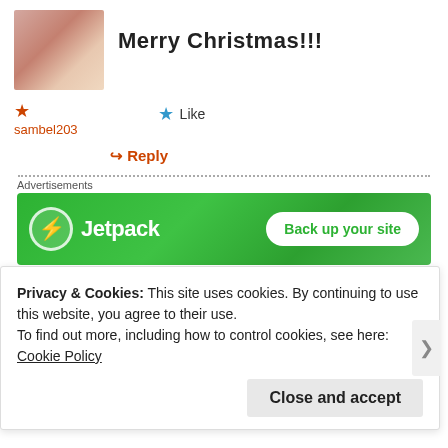[Figure (photo): Small avatar photo of a woman with glasses holding a drink]
Merry Christmas!!!
★ (red star icon) sambel203
★ Like
↦ Reply
Advertisements
[Figure (screenshot): Jetpack advertisement banner - Back up your site]
REPORT THIS AD
[Figure (photo): Avatar photo of a woman sitting at a desk with a laptop]
December 22, 2019 at 11:50 am
Privacy & Cookies: This site uses cookies. By continuing to use this website, you agree to their use. To find out more, including how to control cookies, see here: Cookie Policy
Close and accept